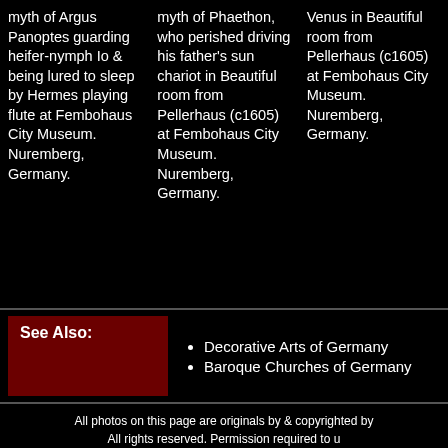myth of Argus Panoptes guarding heifer-nymph Io & being lured to sleep by Hermes playing flute at Fembohaus City Museum. Nuremberg, Germany.
myth of Phaethon, who perished driving his father's sun chariot in Beautiful room from Pellerhaus (c1605) at Fembohaus City Museum. Nuremberg, Germany.
Venus in Beautiful room from Pellerhaus (c1605) at Fembohaus City Museum. Nuremberg, Germany.
See Also:
Decorative Arts of Germany
Baroque Churches of Germany
All photos on this page are originals by & copyrighted by All rights reserved. Permission required to u
Travel Photo Base is a photo collection associated with
[Figure (logo): UCR ARTS logo with gray UCR text and horizontal lines, orange ARTS text and horizontal line below]